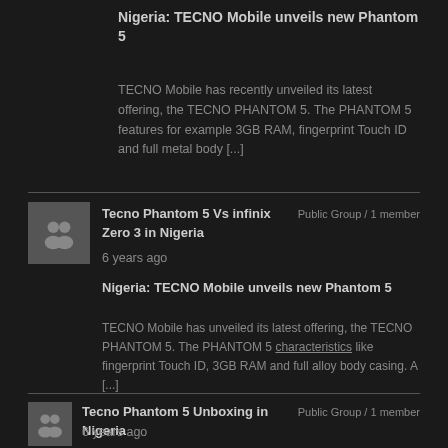Nigeria: TECNO Mobile unveils new Phantom 5
TECNO Mobile has recently unveiled its latest offering, the TECNO PHANTOM 5. The PHANTOM 5 features for example 3GB RAM, fingerprint Touch ID and full metal body [...]
[Figure (illustration): Grey group/people icon placeholder image]
Tecno Phantom 5 Vs infinix Zero 3 in Nigeria
Public Group / 1 member
6 years ago
Nigeria: TECNO Mobile unveils new Phantom 5
TECNO Mobile has unveiled its latest offering, the TECNO PHANTOM 5. The PHANTOM 5 characteristics like fingerprint Touch ID, 3GB RAM and full alloy body casing. A [...]
[Figure (illustration): Grey group/people icon placeholder image]
Tecno Phantom 5 Unboxing in Nigeria
Public Group / 1 member
6 years ago